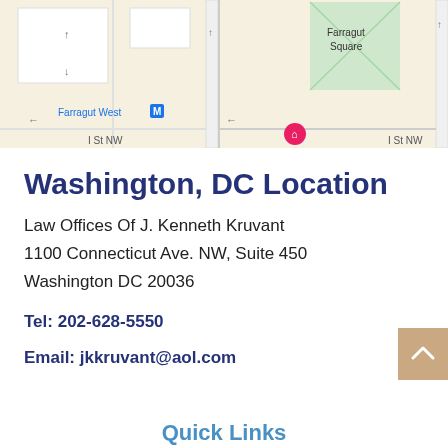[Figure (map): Google Maps screenshot showing Farragut West Metro station on the left map panel and Farragut Square with a location pin on the right map panel, with I St NW labeled on both panels]
Washington, DC Location
Law Offices Of J. Kenneth Kruvant
1100 Connecticut Ave. NW, Suite 450
Washington DC 20036
Tel: 202-628-5550
Email: jkkruvant@aol.com
Quick Links
Home | Attorney Profile | Personal